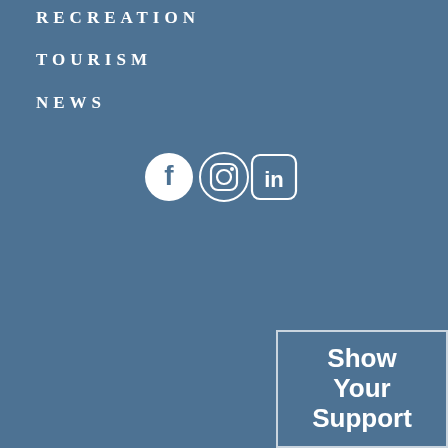RECREATION
TOURISM
NEWS
[Figure (illustration): Social media icons: Facebook, Instagram, LinkedIn in white on steel blue background]
Show Your Support